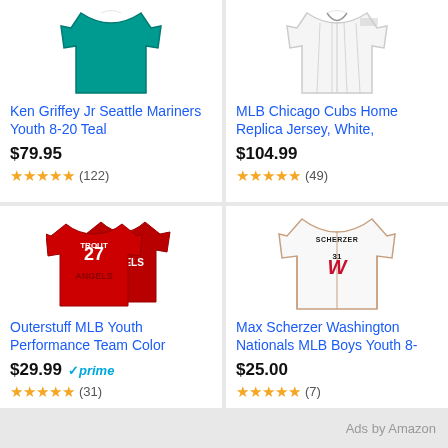[Figure (photo): Ken Griffey Jr Seattle Mariners teal jersey product image]
Ken Griffey Jr Seattle Mariners Youth 8-20 Teal
$79.95
★★★★½ (122)
[Figure (photo): MLB Chicago Cubs Home Replica Jersey white pinstripe product image]
MLB Chicago Cubs Home Replica Jersey, White,
$104.99
★★★★½ (49)
[Figure (photo): Outerstuff MLB Youth Performance Team Color red t-shirt #27 Trout Angels]
Outerstuff MLB Youth Performance Team Color
$29.99 ✓prime
★★★★½ (31)
[Figure (photo): Max Scherzer Washington Nationals white jersey #31 product image]
Max Scherzer Washington Nationals MLB Boys Youth 8-
$25.00
★★★★★ (7)
Ads by Amazon